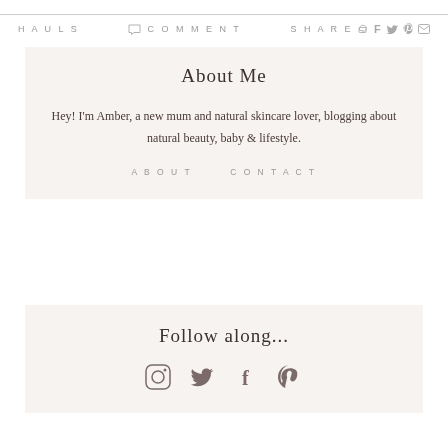HAULS   COMMENT   SHARE
About Me
Hey! I'm Amber, a new mum and natural skincare lover, blogging about natural beauty, baby & lifestyle.
ABOUT   CONTACT
Follow along...
[Figure (other): Social media icons: Instagram, Twitter, Facebook, Pinterest]